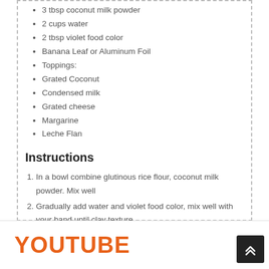3 tbsp coconut milk powder
2 cups water
2 tbsp violet food color
Banana Leaf or Aluminum Foil
Toppings:
Grated Coconut
Condensed milk
Grated cheese
Margarine
Leche Flan
Instructions
In a bowl combine glutinous rice flour, coconut milk powder. Mix well
Gradually add water and violet food color, mix well with your hand until clay texture
Grate the dough using grater to make a galapong.
Prepare a banana leaf or aluminum foil for a wrap and brush with margarine
Steam for 20 mins
For toppings brush margarine, add grated coconut, condensed milk, grated cheese and leche flan
Serve and enjoy!
YOUTUBE